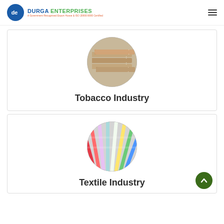Durga Enterprises — A Government Recognised Export House & ISO 20000:9000 Certified
[Figure (photo): Circular image of cigarettes representing the Tobacco Industry]
Tobacco Industry
[Figure (photo): Circular image of colorful textile swatches representing the Textile Industry]
Textile Industry